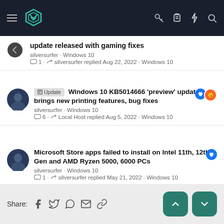Navigation bar with logo and icons
update released with gaming fixes
silversurfer · Windows 10
1 silversurfer replied Aug 22, 2022 · Windows 10
Update Windows 10 KB5014666 'preview' update brings new printing features, bug fixes
silversurfer · Windows 10
6 Local Host replied Aug 5, 2022 · Windows 10
Microsoft Store apps failed to install on Intel 11th, 12th Gen and AMD Ryzen 5000, 6000 PCs
silversurfer · Windows 10
1 silversurfer replied May 21, 2022 · Windows 10
Share: [social icons] [up arrow] [down arrow]